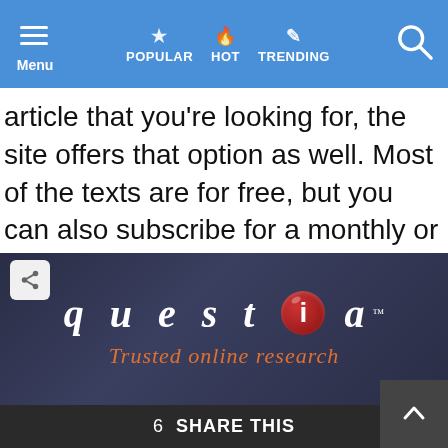Menu  POPULAR  HOT  TRENDING
article that you’re looking for, the site offers that option as well. Most of the texts are for free, but you can also subscribe for a monthly or yearly membership.
[Figure (logo): Questia logo on a dark blue background with the text 'questia' in white italic serif font with a red circle badge on the letter 'i', and the tagline 'Trusted online research' in orange italic text below.]
6 SHARE THIS